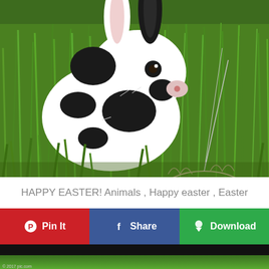[Figure (photo): A black and white spotted rabbit sitting on green grass next to a wire basket filled with decorated Easter eggs in various colors (red, gold, purple, bronze). The basket appears to be hanging or held up by wire. Background is lush green grass.]
HAPPY EASTER! Animals , Happy easter , Easter
[Figure (infographic): Three social sharing buttons: 'Pin It' (red with Pinterest logo), 'Share' (blue with Facebook logo), 'Download' (green with download cloud icon)]
[Figure (photo): Partial preview of another image at the bottom showing a dark top bar and green grass, with a copyright notice '© 2017 pic.com']